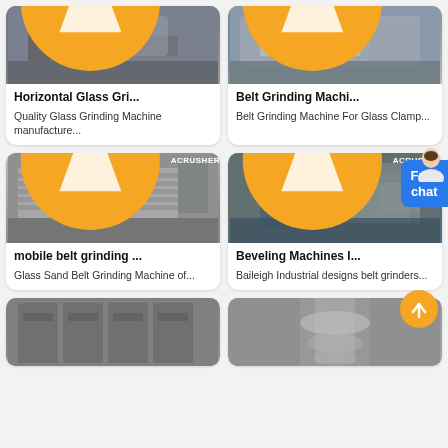[Figure (photo): Industrial horizontal glass grinding machine photo with Acrusher logo badge]
Horizontal Glass Gri...
Quality Glass Grinding Machine manufacture...
[Figure (photo): Belt grinding machine for glass with Acrusher logo badge]
Belt Grinding Machi...
Belt Grinding Machine For Glass Clamp...
[Figure (photo): Mobile belt grinding machine industrial photo with Acrusher logo badge]
mobile belt grinding ...
Glass Sand Belt Grinding Machine of...
[Figure (photo): Beveling machines industrial photo with Acrusher logo badge]
Beveling Machines I...
Baileigh Industrial designs belt grinders...
[Figure (photo): Industrial machine bottom left partial photo with Acrusher logo]
[Figure (photo): Industrial cylindrical machine bottom right partial photo]